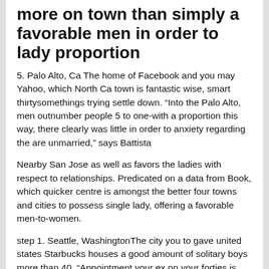more on town than simply a favorable men in order to lady proportion
5. Palo Alto, Ca The home of Facebook and you may Yahoo, which North Ca town is fantastic wise, smart thirtysomethings trying settle down. “Into the Palo Alto, men outnumber people 5 to one-with a proportion this way, there clearly was little in order to anxiety regarding the are unmarried,” says Battista
Nearby San Jose as well as favors the ladies with respect to relationships. Predicated on a data from Book, which quicker centre is amongst the better four towns and cities to possess single lady, offering a favorable men-to-women.
step 1. Seattle, WashingtonThe city you to gave united states Starbucks houses a good amount of solitary boys more than 40. “Appointment your ex on your forties is simple when you look at the a region such as for instance Seattle,” Goldstein states.